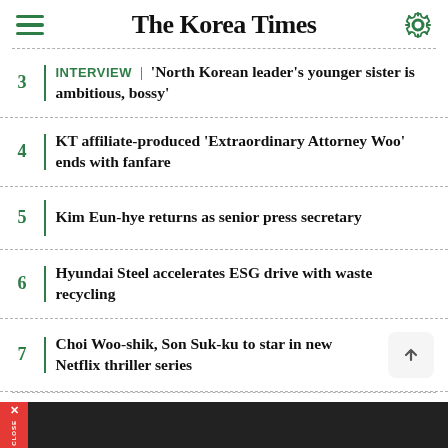The Korea Times
3 | INTERVIEW | 'North Korean leader's younger sister is ambitious, bossy'
4 | KT affiliate-produced 'Extraordinary Attorney Woo' ends with fanfare
5 | Kim Eun-hye returns as senior press secretary
6 | Hyundai Steel accelerates ESG drive with waste recycling
7 | Choi Woo-shik, Son Suk-ku to star in new Netflix thriller series
X CLOSE